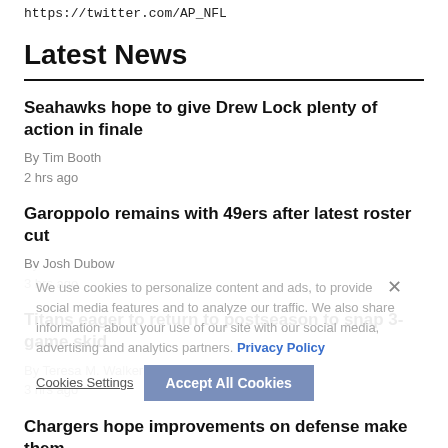https://twitter.com/AP_NFL
Latest News
Seahawks hope to give Drew Lock plenty of action in finale
By Tim Booth
2 hrs ago
Garoppolo remains with 49ers after latest roster cut
By Josh Dubow
3 hrs ago
Titans eager to return to postseason to snap 3-game skid
By Teresa M. Walker
3 hrs ago
Chargers hope improvements on defense make them
We use cookies to personalize content and ads, to provide social media features and to analyze our traffic. We also share information about your use of our site with our social media, advertising and analytics partners. Privacy Policy
Cookies Settings | Accept All Cookies